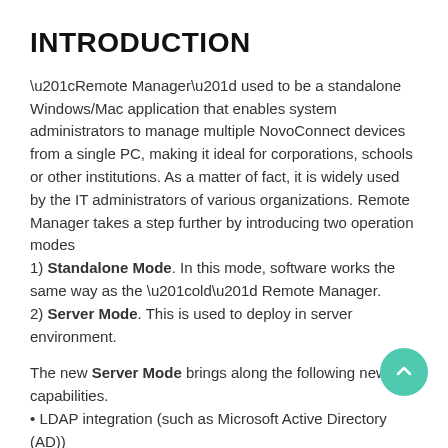INTRODUCTION
“Remote Manager” used to be a standalone Windows/Mac application that enables system administrators to manage multiple NovoConnect devices from a single PC, making it ideal for corporations, schools or other institutions. As a matter of fact, it is widely used by the IT administrators of various organizations. Remote Manager takes a step further by introducing two operation modes
1) Standalone Mode. In this mode, software works the same way as the “old” Remote Manager.
2) Server Mode. This is used to deploy in server environment.
The new Server Mode brings along the following new capabilities.
• LDAP integration (such as Microsoft Active Directory (AD))